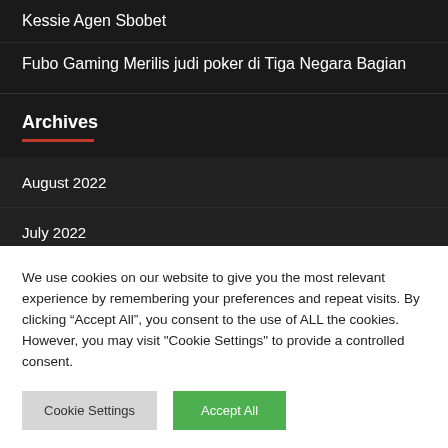Kessie Agen Sbobet
Fubo Gaming Merilis judi poker di Tiga Negara Bagian
Archives
August 2022
July 2022
June 2022
We use cookies on our website to give you the most relevant experience by remembering your preferences and repeat visits. By clicking “Accept All”, you consent to the use of ALL the cookies. However, you may visit "Cookie Settings" to provide a controlled consent.
Cookie Settings | Accept All